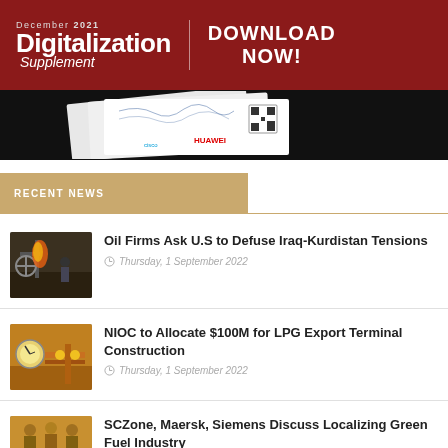[Figure (illustration): Banner advertisement for Digitalization Supplement December 2021 with Download Now call to action and magazine cover image with sponsor logos]
RECENT NEWS
Oil Firms Ask U.S to Defuse Iraq-Kurdistan Tensions
Thursday, 1 September 2022
NIOC to Allocate $100M for LPG Export Terminal Construction
Thursday, 1 September 2022
SCZone, Maersk, Siemens Discuss Localizing Green Fuel Industry